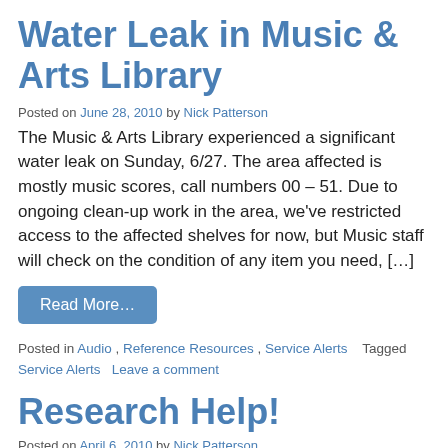Water Leak in Music & Arts Library
Posted on June 28, 2010 by Nick Patterson
The Music & Arts Library experienced a significant water leak on Sunday, 6/27. The area affected is mostly music scores, call numbers 00 – 51. Due to ongoing clean-up work in the area, we've restricted access to the affected shelves for now, but Music staff will check on the condition of any item you need, […]
Read More…
Posted in Audio, Reference Resources, Service Alerts   Tagged Service Alerts   Leave a comment
Research Help!
Posted on April 6, 2010 by Nick Patterson